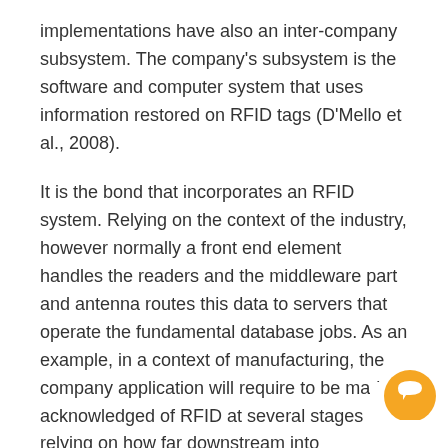implementations have also an inter-company subsystem. The company's subsystem is the software and computer system that uses information restored on RFID tags (D'Mello et al., 2008).
It is the bond that incorporates an RFID system. Relying on the context of the industry, however normally a front end element handles the readers and the middleware part and antenna routes this data to servers that operate the fundamental database jobs. As an example, in a context of manufacturing, the company application will require to be made acknowledged of RFID at several stages relying on how far downstream into manufacturing and external into the supply